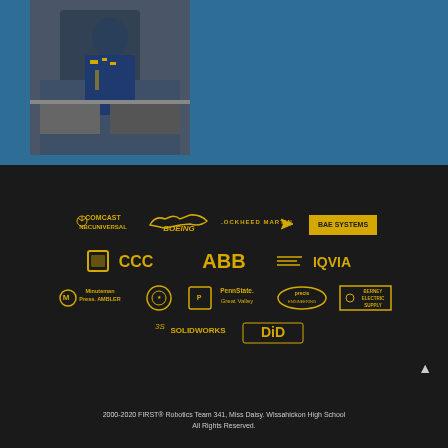[Figure (photo): Person in blue robotics team shirt working on equipment]
[Figure (logo): Sponsor logos row 1: Comcast NBCUniversal, Boeing, Lockheed Martin, BAE Systems]
[Figure (logo): Sponsor logos row 2: CCC, ABB, IQVIA]
[Figure (logo): Sponsor logos row 3: Minuteman Press Ambler, unknown logo, PennState Great Valley, Precis Engineering, Berney Electric Supply]
[Figure (logo): Sponsor logos row 4: SolidWorks, DiD]
2000-2020 FIRST® Robotics Team 341, Miss Daisy. Wissahickon High School All Rights Reserved.